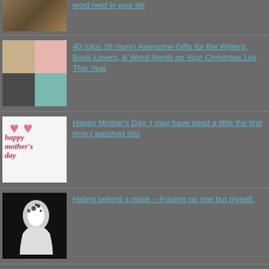[Figure (photo): Thumbnail image of a wooden box or desk item]
40 (plus 38 more) Awesome Gifts for the Writers, Book Lovers, & Word Nerds on Your Christmas List This Year
[Figure (photo): Collage of writing/typing themed images in a 2x2 grid]
Happy Mother's Day. I may have peed a little the first time I watched this
[Figure (photo): Happy Mother's Day image with hearts and stylized text]
Hiding behind a mask – Fooling no one but myself.
[Figure (photo): Black and white silhouette profile with floral headpiece]
Happy National Book Lovers Day!
[Figure (photo): National Book Lovers Day image with reader silhouette]